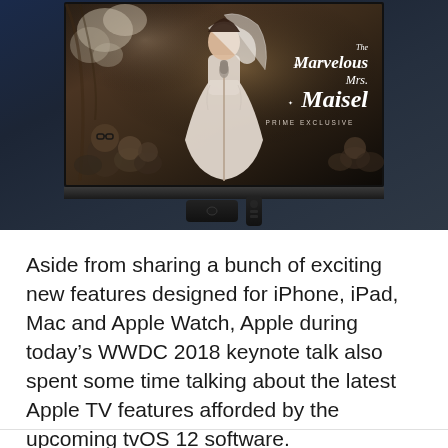[Figure (screenshot): Apple TV device showing The Marvelous Mrs. Maisel Prime Exclusive on screen, with the Apple TV box and remote visible below the television display.]
Aside from sharing a bunch of exciting new features designed for iPhone, iPad, Mac and Apple Watch, Apple during today's WWDC 2018 keynote talk also spent some time talking about the latest Apple TV features afforded by the upcoming tvOS 12 software.